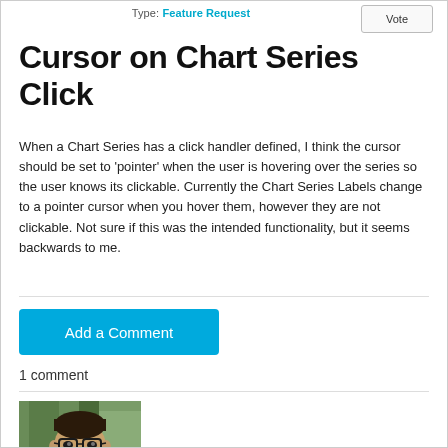Type: Feature Request
Vote
Cursor on Chart Series Click
When a Chart Series has a click handler defined, I think the cursor should be set to 'pointer' when the user is hovering over the series so the user knows its clickable. Currently the Chart Series Labels change to a pointer cursor when you hover them, however they are not clickable. Not sure if this was the intended functionality, but it seems backwards to me.
Add a Comment
1 comment
[Figure (photo): Avatar photo of an admin user with glasses and dark beard, wearing a dark shirt, with an ADMIN badge below]